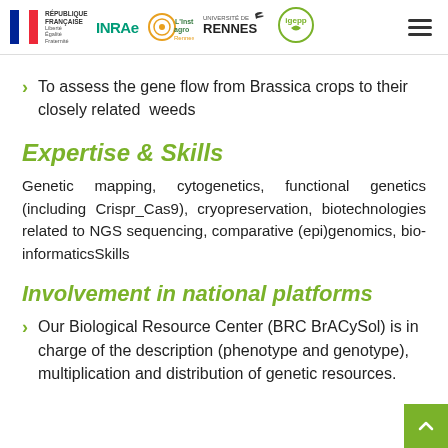République Française | INRAE | L'Institut agro Rennes Angers | Université de Rennes | igepp
To assess the gene flow from Brassica crops to their closely related weeds
Expertise & Skills
Genetic mapping, cytogenetics, functional genetics (including Crispr_Cas9), cryopreservation, biotechnologies related to NGS sequencing, comparative (epi)genomics, bio-informaticsSkills
Involvement in national platforms
Our Biological Resource Center (BRC BrACySol) is in charge of the description (phenotype and genotype), multiplication and distribution of genetic resources.